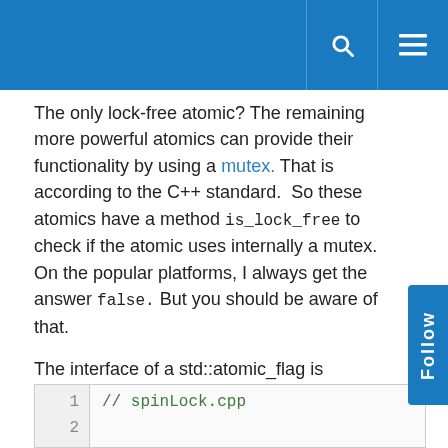The only lock-free atomic? The remaining more powerful atomics can provide their functionality by using a mutex. That is according to the C++ standard.  So these atomics have a method is_lock_free to check if the atomic uses internally a mutex. On the popular platforms, I always get the answer false. But you should be aware of that.
The interface of a std::atomic_flag is sufficient to build a spinlock. With a spinlock, you can protect a critical section similar to a mutex. But the spinlock will not passively wait in opposite to a mutex until it gets it mutex. It will eagerly ask for the critical section. So it saves the expensive context change in the wait state but it fully utilises the CPU:
The example shows the implementation of a spinlock with the help of std::atomic_flag.
[Figure (screenshot): Code block showing beginning of spinLock.cpp file with line numbers 1 and 2]